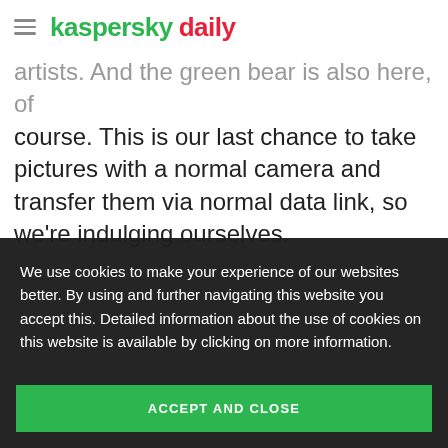kaspersky daily
artists. And the green bear is also here, of course. This is our last chance to take pictures with a normal camera and transfer them via normal data link, so we're indulging ourselves.
[Figure (photo): Cloudy mountain landscape with dark silhouetted mountain peaks against an overcast grey sky]
We use cookies to make your experience of our websites better. By using and further navigating this website you accept this. Detailed information about the use of cookies on this website is available by clicking on more information.
ACCEPT AND CLOSE